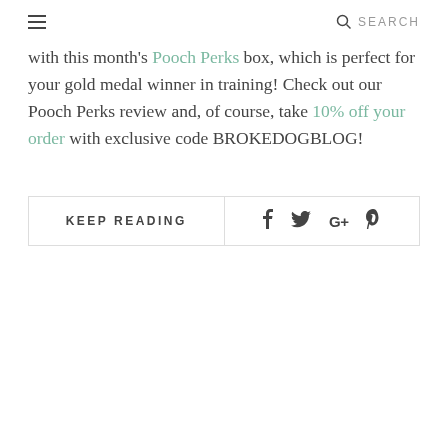≡  SEARCH
with this month's Pooch Perks box, which is perfect for your gold medal winner in training! Check out our Pooch Perks review and, of course, take 10% off your order with exclusive code BROKEDOGBLOG!
KEEP READING   f  Twitter  G+  Pinterest